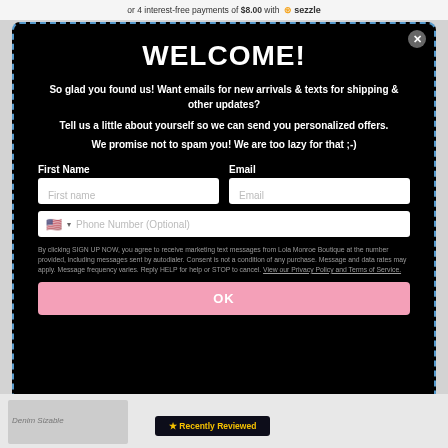or 4 interest-free payments of $8.00 with Sezzle
WELCOME!
So glad you found us! Want emails for new arrivals & texts for shipping & other updates?
Tell us a little about yourself so we can send you personalized offers.
We promise not to spam you! We are too lazy for that ;-)
First Name
Email
First name
Email
Phone Number (Optional)
By clicking SIGN UP NOW, you agree to receive marketing text messages from Lola Monroe Boutique at the number provided, including messages sent by autodialer. Consent is not a condition of any purchase. Message and data rates may apply. Message frequency varies. Reply HELP for help or STOP to cancel. View our Privacy Policy and Terms of Service.
OK
★ Recently Reviewed
Denim Sizable